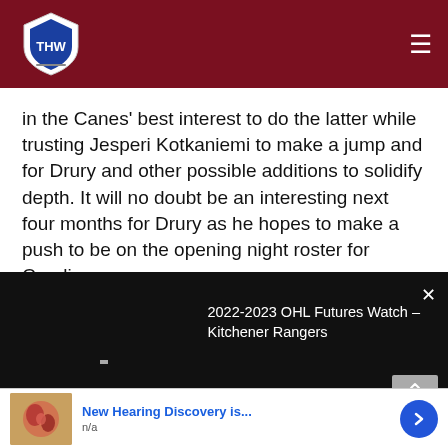THW (The Hockey Writers) navigation bar with logo and hamburger menu
in the Canes' best interest to do the latter while trusting Jesperi Kotkaniemi to make a jump and for Drury and other possible additions to solidify depth. It will no doubt be an interesting next four months for Drury as he hopes to make a push to be on the opening night roster for Carolina.
[Figure (screenshot): Video player with black background showing title '2022-2023 OHL Futures Watch – Kitchener Rangers' on right side, close (X) button top right, small play indicator in center-left area]
[Figure (other): Advertisement banner: image of anatomical illustration on left, blue bold text 'New Hearing Discovery is...' with subtext 'n/a', blue circular chevron button on right]